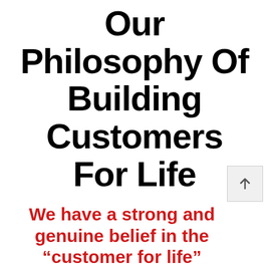Our Philosophy Of Building Customers For Life
We have a strong and genuine belief in the “customer for life” principle of doing business: it is what fuels our